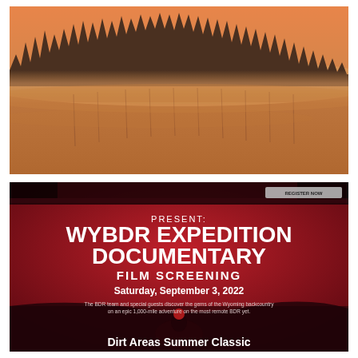[Figure (photo): Landscape photo of a misty lake at dawn with silhouetted evergreen trees along the horizon, warm amber/orange tones with fog over calm water]
[Figure (photo): Event poster on dark red background reading: PRESENT: WYBDR EXPEDITION DOCUMENTARY FILM SCREENING, Saturday, September 3, 2022. The BDR team and special guests discover the gems of the Wyoming backcountry on an epic 1,000-mile adventure on the most remote BDR yet. Dirt Areas Summer Classic. Small registration button visible top right.]